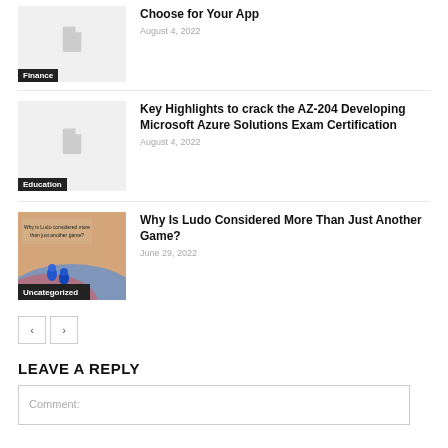[Figure (illustration): Thumbnail placeholder with document icon and Finance category label]
Choose for Your App
August 4, 2022
[Figure (illustration): Thumbnail placeholder with document icon and Education category label]
Key Highlights to crack the AZ-204 Developing Microsoft Azure Solutions Exam Certification
August 4, 2022
[Figure (photo): Ludo game pieces photo with Uncategorized category label]
Why Is Ludo Considered More Than Just Another Game?
June 29, 2022
LEAVE A REPLY
Comment: